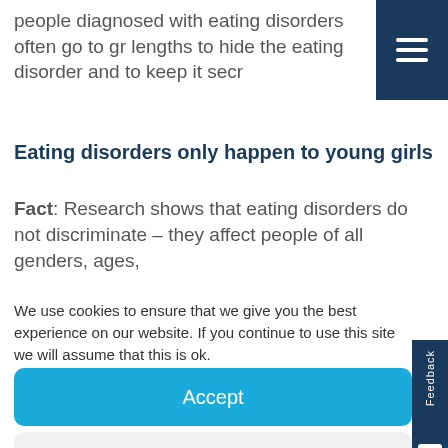people diagnosed with eating disorders often go to great lengths to hide the eating disorder and to keep it secret
Eating disorders only happen to young girls
Fact: Research shows that eating disorders do not discriminate – they affect people of all genders, ages,
We use cookies to ensure that we give you the best experience on our website. If you continue to use this site we will assume that this is ok.
Accept
Deny
Preferences
Cookie Policy   Privacy Policy